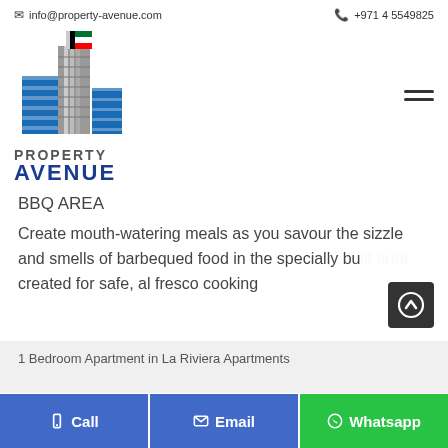info@property-avenue.com   +971 4 5549825
[Figure (logo): Property Avenue logo with stylized blue skyscraper and UAE flag graphic, text PROPERTY AVENUE below]
BBQ AREA
Create mouth-watering meals as you savour the sizzle and smells of barbequed food in the specially built area created for safe, al fresco cooking
1 Bedroom Apartment in La Riviera Apartments
Call   Email   Whatsapp